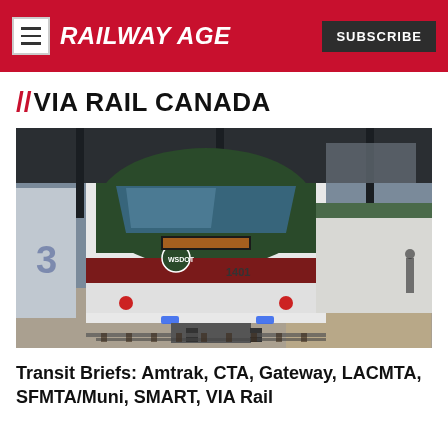RAILWAY AGE | SUBSCRIBE
// VIA RAIL CANADA
[Figure (photo): A WSDOT-branded passenger train locomotive (number 1401) at a station platform, viewed head-on slightly from the side, with station canopy overhead and a yellow safety stripe visible along the platform edge.]
Transit Briefs: Amtrak, CTA, Gateway, LACMTA, SFMTA/Muni, SMART, VIA Rail